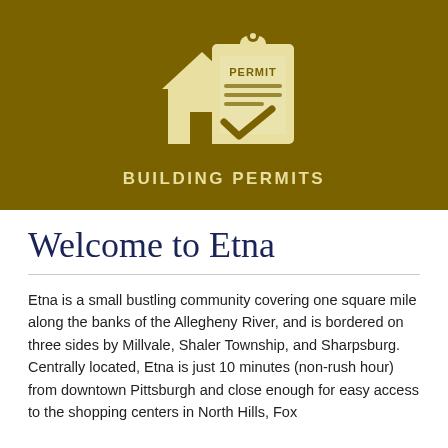[Figure (illustration): Building permits icon: a house silhouette overlapping a clipboard with 'PERMIT' text and a checkmark, rendered in cream/tan on an olive/dark yellow background. Text below reads 'BUILDING PERMITS'.]
Welcome to Etna
Etna is a small bustling community covering one square mile along the banks of the Allegheny River, and is bordered on three sides by Millvale, Shaler Township, and Sharpsburg. Centrally located, Etna is just 10 minutes (non-rush hour) from downtown Pittsburgh and close enough for easy access to the shopping centers in North Hills, Fox